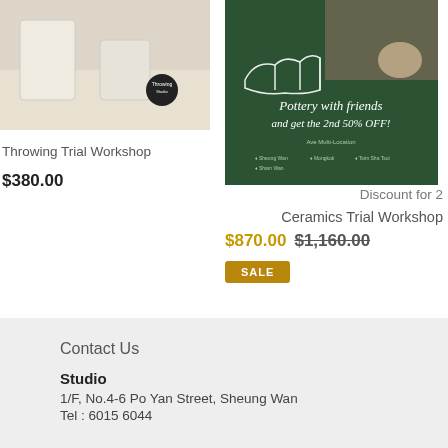[Figure (photo): Photo of ceramic cups/mugs on a white surface with a round black label sticker]
Throwing Trial Workshop
$380.00
[Figure (illustration): Green background promotional image with hand-drawn pottery illustration and text: Pottery with friends and get the 2nd 50% OFF! with multiple location pins]
Discount for 2 Ceramics Trial Workshop
$870.00  $1,160.00
SALE
Contact Us
Studio
1/F, No.4-6 Po Yan Street, Sheung Wan
Tel : 6015 6044